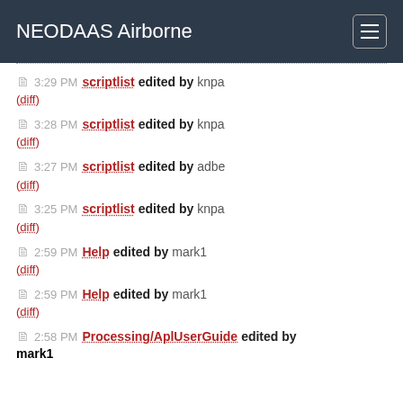NEODAAS Airborne
3:29 PM scriptlist edited by knpa (diff)
3:28 PM scriptlist edited by knpa (diff)
3:27 PM scriptlist edited by adbe (diff)
3:25 PM scriptlist edited by knpa (diff)
2:59 PM Help edited by mark1 (diff)
2:59 PM Help edited by mark1 (diff)
2:58 PM Processing/AplUserGuide edited by mark1